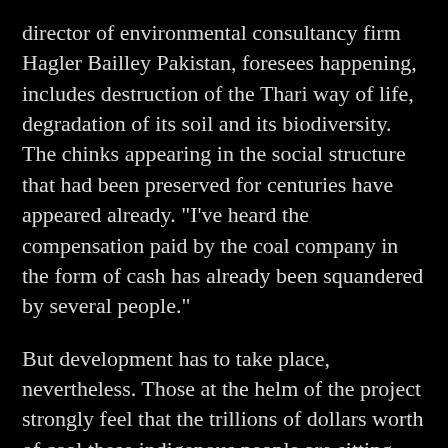director of environmental consultancy firm Hagler Bailley Pakistan, foresees happening, includes destruction of the Thari way of life, degradation of its soil and its biodiversity. The chinks appearing in the social structure that had been preserved for centuries have appeared already. "I've heard the compensation paid by the coal company in the form of cash has already been squandered by several people."
But development has to take place, nevertheless. Those at the helm of the project strongly feel that the trillions of dollars worth of coal these indigenous people are sitting atop, needs to be exploited given our political and economic compulsions. "The collateral damage can't be avoided," he says.